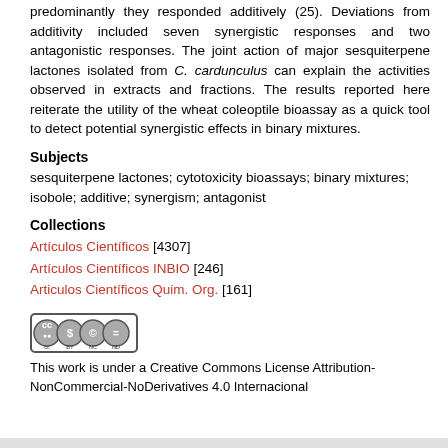predominantly they responded additively (25). Deviations from additivity included seven synergistic responses and two antagonistic responses. The joint action of major sesquiterpene lactones isolated from C. cardunculus can explain the activities observed in extracts and fractions. The results reported here reiterate the utility of the wheat coleoptile bioassay as a quick tool to detect potential synergistic effects in binary mixtures.
Subjects
sesquiterpene lactones; cytotoxicity bioassays; binary mixtures; isobole; additive; synergism; antagonist
Collections
Artículos Científicos [4307]
Artículos Científicos INBIO [246]
Articulos Científicos Quim. Org. [161]
[Figure (logo): Creative Commons Attribution-NonCommercial-NoDerivatives license badge with CC, BY, NC, ND icons]
This work is under a Creative Commons License Attribution-NonCommercial-NoDerivatives 4.0 Internacional